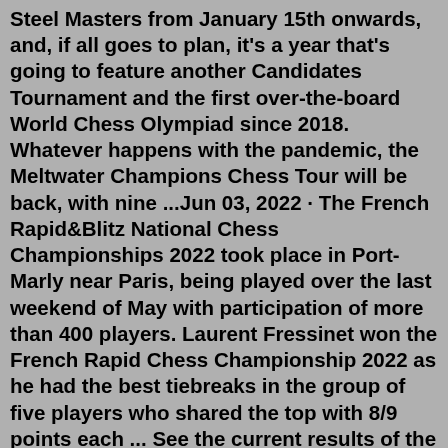Steel Masters from January 15th onwards, and, if all goes to plan, it's a year that's going to feature another Candidates Tournament and the first over-the-board World Chess Olympiad since 2018. Whatever happens with the pandemic, the Meltwater Champions Chess Tour will be back, with nine ...Jun 03, 2022 · The French Rapid&Blitz National Chess Championships 2022 took place in Port-Marly near Paris, being played over the last weekend of May with participation of more than 400 players. Laurent Fressinet won the French Rapid Chess Championship 2022 as he had the best tiebreaks in the group of five players who shared the top with 8/9 points each ... See the current results of the Chess.com Rapid Chess Championship 2022 Week 23 - Swiss games, updated live. The prize fund for Rapid will be ₹400,000, the first prize being ₹75000. For Blitz event, total prize fund is ₹250,000, first prize ₹50000. Apart from the prizes, the winner of each event will earn a spot at World Rapid and Blitz Chess Championships 2022. India no 2 GM Vidit Guirath invites you to take part